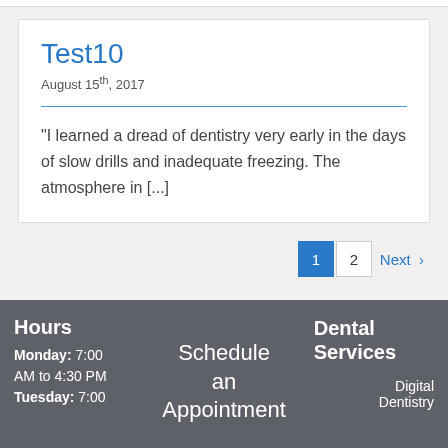Test10
August 15th, 2017
"I learned a dread of dentistry very early in the days of slow drills and inadequate freezing. The atmosphere in [...]
1  2  Next >
Hours
Monday: 7:00 AM to 4:30 PM
Tuesday: 7:00
Schedule an Appointment
Dental Services
Digital Dentistry